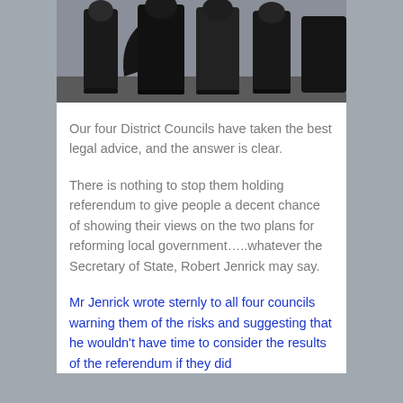[Figure (photo): Photograph showing several figures in dark graduation robes or formal black robes, viewed from behind or at an angle, outdoors.]
Our four District Councils have taken the best legal advice, and the answer is clear.
There is nothing to stop them holding referendum to give people a decent chance of showing their views on the two plans for reforming local government…..whatever the Secretary of State, Robert Jenrick may say.
Mr Jenrick wrote sternly to all four councils warning them of the risks and suggesting that he wouldn't have time to consider the results of the referendum if they did